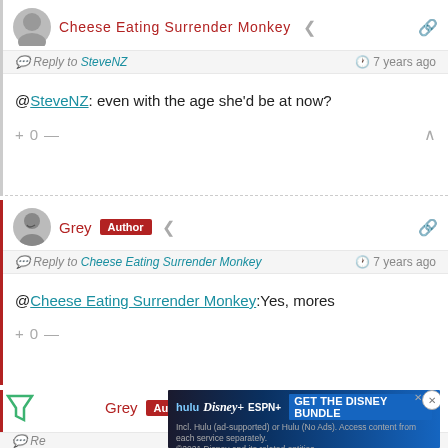Cheese Eating Surrender Monkey — Reply to SteveNZ — 7 years ago
@SteveNZ: even with the age she'd be at now?
+ 0 —
Grey [Author] — Reply to Cheese Eating Surrender Monkey — 7 years ago
@Cheese Eating Surrender Monkey:Yes, mores
+ 0 —
Grey [Author] — Reply — 7 years ago
[Figure (screenshot): Disney/Hulu/ESPN+ advertisement banner: GET THE DISNEY BUNDLE]